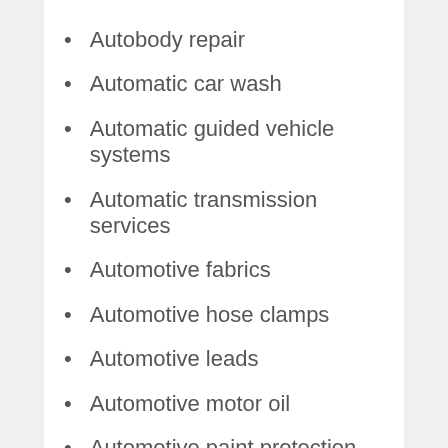Autobody repair
Automatic car wash
Automatic guided vehicle systems
Automatic transmission services
Automotive fabrics
Automotive hose clamps
Automotive leads
Automotive motor oil
Automotive paint protection film
Automotive spring manufacturers
Automotive textile manufacturers
Automotive window tinting services